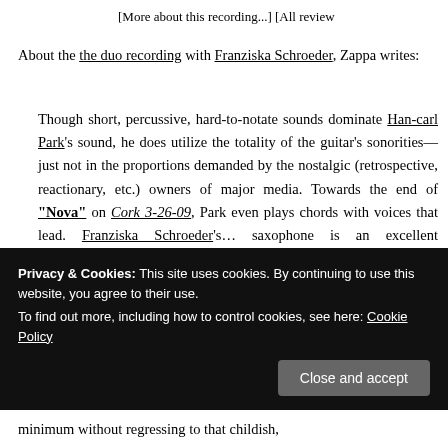[More about this recording...] [All review
About the the duo recording with Franziska Schroeder, Zappa writes:
Though short, percussive, hard-to-notate sounds dominate Han-earl Park's sound, he does utilize the totality of the guitar's sonorities—just not in the proportions demanded by the nostalgic (retrospective, reactionary, etc.) owners of major media. Towards the end of "Nova" on Cork 3-26-09, Park even plays chords with voices that lead. Franziska Schroeder's... saxophone is an excellent counterpoint to Park's electric guitar, mostly because her post-tonal
Privacy & Cookies: This site uses cookies. By continuing to use this website, you agree to their use.
To find out more, including how to control cookies, see here: Cookie Policy
Close and accept
minimum without regressing to that childish,